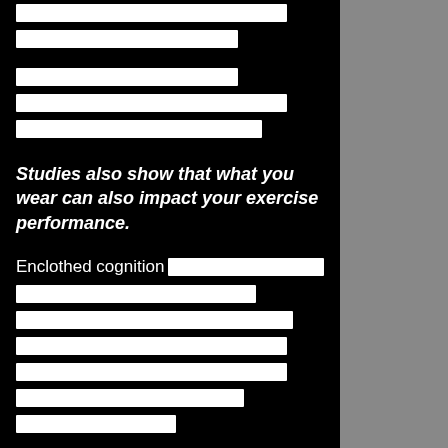[redacted lines]
Studies also show that what you wear can also impact your exercise performance.
Enclothed cognition [redacted lines]